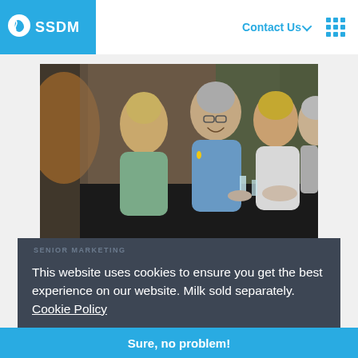SSDM | Contact Us | navigation
[Figure (photo): Group of older adults (seniors) socializing and dining outdoors at a table with food, drinks, candles, and a stone wall background.]
SENIOR MARKETING
FRIED: How To Find Prospects
This website uses cookies to ensure you get the best experience on our website. Milk sold separately. Cookie Policy
As any salesperson knows prospecting can be one of the more extensive parts of the job. How do you find prospects?
Sure, no problem!